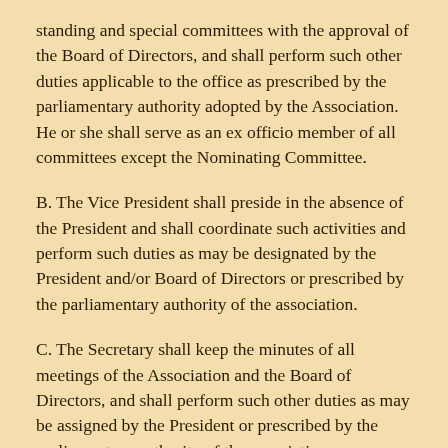standing and special committees with the approval of the Board of Directors, and shall perform such other duties applicable to the office as prescribed by the parliamentary authority adopted by the Association. He or she shall serve as an ex officio member of all committees except the Nominating Committee.
B. The Vice President shall preside in the absence of the President and shall coordinate such activities and perform such duties as may be designated by the President and/or Board of Directors or prescribed by the parliamentary authority of the association.
C. The Secretary shall keep the minutes of all meetings of the Association and the Board of Directors, and shall perform such other duties as may be assigned by the President or prescribed by the parliamentary authority of the association.